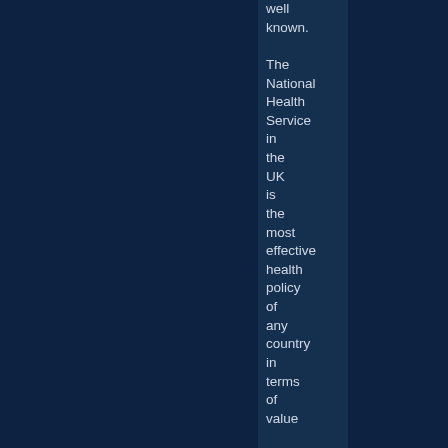well known. The National Health Service in the UK is the most effective health policy of any country in terms of value